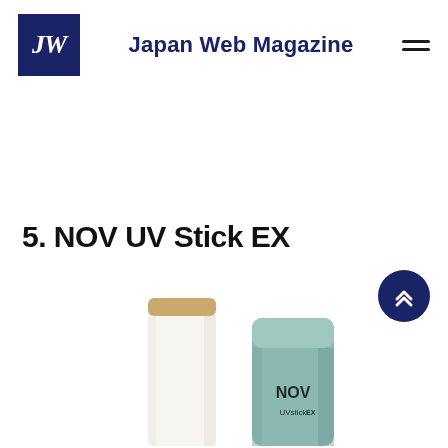JW — Japan Web Magazine
5. NOV UV Stick EX
[Figure (photo): Two NOV UV Stick EX sunscreen sticks — one white with gold cap on the left, one mint/teal green with NOV UV stick EX label on the right, photographed against a white background.]